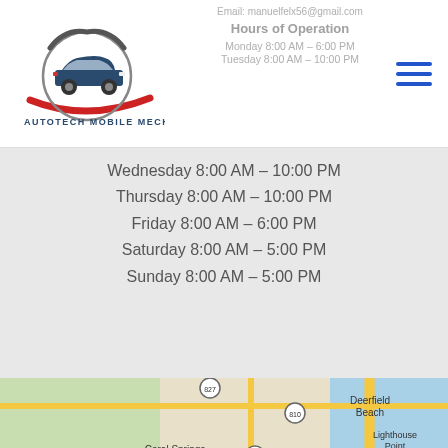[Figure (logo): Autotech Mobile Mechanic logo with stylized car graphic and text]
Email: manuelfelx56@gmail.com
Hours of Operation
Monday 8:00 AM – 6:00 PM (faded in header)
Tuesday 8:00 AM – 10:00 PM (faded in header)
Wednesday 8:00 AM – 10:00 PM
Thursday 8:00 AM – 10:00 PM
Friday 8:00 AM – 6:00 PM
Saturday 8:00 AM – 5:00 PM
Sunday 8:00 AM – 5:00 PM
[Figure (map): Google Maps screenshot showing South Florida area including Deerfield Beach, Lighthouse Point, Coral Springs, Pompano Beach, Sunrise with highway markers 827, 810, 441, 869, 845, 95]